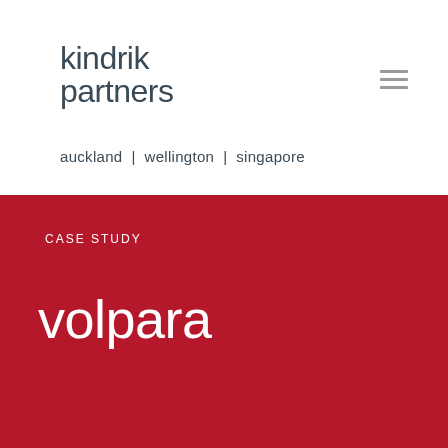[Figure (logo): Kindrik Partners logo with text 'kindrik partners' in dark slate color, two lines]
auckland | wellington | singapore
CASE STUDY
volpara